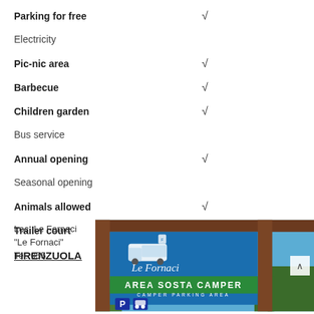Parking for free  √
Electricity
Pic-nic area  √
Barbecue  √
Children garden  √
Bus service
Annual opening  √
Seasonal opening
Animals allowed  √
Trailer court  √
FIRENZUOLA
Loc. Le Fornaci "Le Fornaci" Tel. 055
[Figure (photo): A wooden sign for 'Le Fornaci' Area Sosta Camper / Camper Parking Area with blue background, a camper van graphic, and a 'P' parking sign at the bottom]